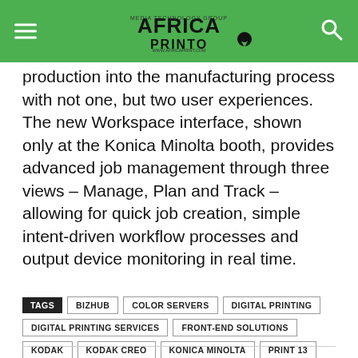AFRICA PRINTO
production into the manufacturing process with not one, but two user experiences. The new Workspace interface, shown only at the Konica Minolta booth, provides advanced job management through three views – Manage, Plan and Track – allowing for quick job creation, simple intent-driven workflow processes and output device monitoring in real time.
TAGS: BIZHUB, COLOR SERVERS, DIGITAL PRINTING, DIGITAL PRINTING SERVICES, FRONT-END SOLUTIONS, KODAK, KODAK CREO, KONICA MINOLTA, PRINT 13, WORKFLOW